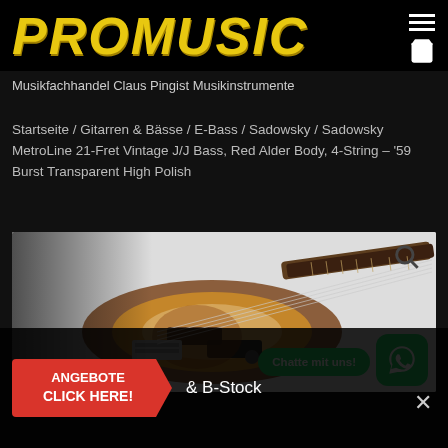PROMUSIC
Musikfachhandel Claus Pingist Musikinstrumente
Startseite / Gitarren & Bässe / E-Bass / Sadowsky / Sadowsky MetroLine 21-Fret Vintage J/J Bass, Red Alder Body, 4-String – '59 Burst Transparent High Polish
[Figure (photo): Electric bass guitar (Sadowsky MetroLine) with sunburst finish, 4-string, shown against a light gray background. WhatsApp chat button and search icon overlaid.]
Chatte mit uns!
ANGEBOTE CLICK HERE! & B-Stock